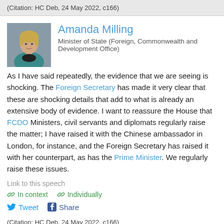(Citation: HC Deb, 24 May 2022, c166)
[Figure (photo): Headshot photo of Amanda Milling, a woman with blonde hair wearing a teal/blue jacket]
Amanda Milling
Minister of State (Foreign, Commonwealth and Development Office)
As I have said repeatedly, the evidence that we are seeing is shocking. The Foreign Secretary has made it very clear that these are shocking details that add to what is already an extensive body of evidence. I want to reassure the House that FCDO Ministers, civil servants and diplomats regularly raise the matter; I have raised it with the Chinese ambassador in London, for instance, and the Foreign Secretary has raised it with her counterpart, as has the Prime Minister. We regularly raise these issues.
Link to this speech
In context
Individually
Tweet
Share
(Citation: HC Deb, 24 May 2022, c166)
[Figure (photo): Partial headshot photo of Andrew Gwynne at the bottom of the page]
Andrew Gwynne